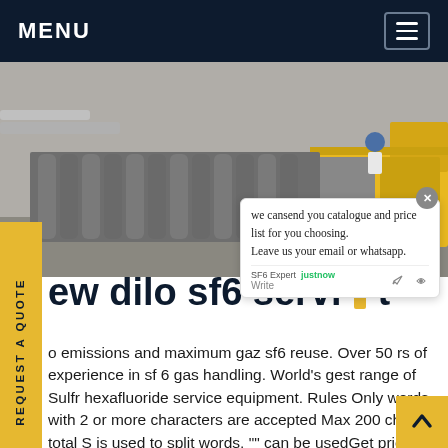MENU
[Figure (photo): Large gray gas cylinders stacked on pallets with a worker in blue helmet and a yellow truck in background, industrial outdoor setting]
we cansend you catalogue and price list for you choosing. Leave us your email or whatsapp.
ew dilo sf6 service t
o emissions and maximum gaz sf6 reuse. Over 50 rs of experience in sf 6 gas handling. World's gest range of Sulfr hexafluoride service equipment. Rules Only words with 2 or more characters are accepted Max 200 chars total S is used to split words, "" can be usedGet price